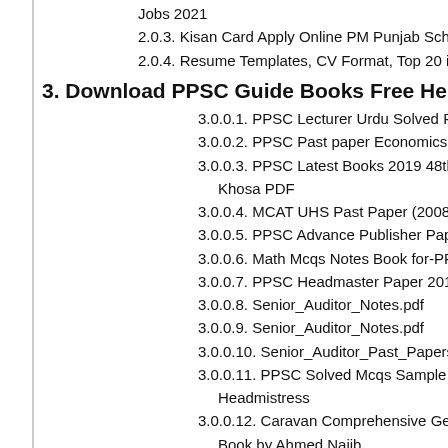Jobs 2021
2.0.3. Kisan Card Apply Online PM Punjab Scheme
2.0.4. Resume Templates, CV Format, Top 20 in MS Word
3. Download PPSC Guide Books Free Here in PDF
3.0.0.1. PPSC Lecturer Urdu Solved Past Paper MCQs P
3.0.0.2. PPSC Past paper Economics pdf
3.0.0.3. PPSC Latest Books 2019 48th Edition by Ijaz Khosa PDF
3.0.0.4. MCAT UHS Past Paper (2008-2016)
3.0.0.5. PPSC Advance Publisher Paper Book 2018
3.0.0.6. Math Mcqs Notes Book for-PPSC-NTS-CSS pdf
3.0.0.7. PPSC Headmaster Paper 2016 pdf
3.0.0.8. Senior_Auditor_Notes.pdf
3.0.0.9. Senior_Auditor_Notes.pdf
3.0.0.10. Senior_Auditor_Past_Papers.pdf
3.0.0.11. PPSC Solved Mcqs Sample Paper of Headmas Headmistress
3.0.0.12. Caravan Comprehensive General Knowledge Book by Ahmed Najib
3.0.0.13. PPSC Headmast Past Paper Solved 2014 pdf